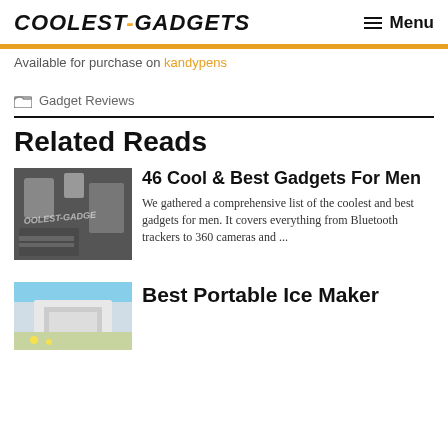COOLEST-GADGETS  ☰ Menu
Available for purchase on kandypens
Gadget Reviews
Related Reads
[Figure (photo): Thumbnail image of gadgets on dark wooden surface with COOLEST-GADGETS watermark]
46 Cool & Best Gadgets For Men
We gathered a comprehensive list of the coolest and best gadgets for men. It covers everything from Bluetooth trackers to 360 cameras and ...
[Figure (photo): Thumbnail image showing a portable ice maker appliance]
Best Portable Ice Maker